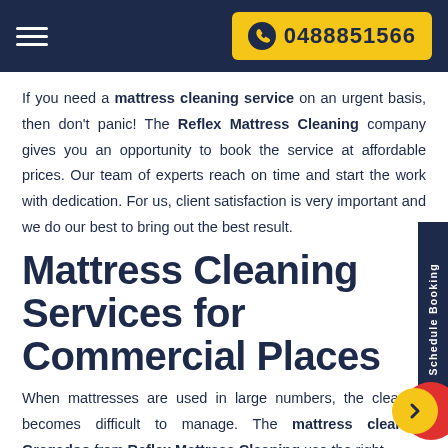0488851566
If you need a mattress cleaning service on an urgent basis, then don't panic! The Reflex Mattress Cleaning company gives you an opportunity to book the service at affordable prices. Our team of experts reach on time and start the work with dedication. For us, client satisfaction is very important and we do our best to bring out the best result.
Mattress Cleaning Services for Commercial Places
When mattresses are used in large numbers, the cleaning becomes difficult to manage. The mattress cleaners Gregadoo from Reflex Mattress Cleaning use the right